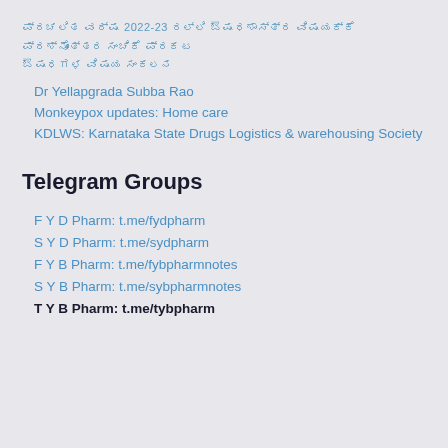ಪ್ರಚಲಿತ ವರ್ಷ 2022-23 ರಲ್ಲಿ ಔಷಧಶಾಸ್ತ್ರ ವಿಷಯಕ್ಕೆ ಪ್ರಶ್ನೋತ್ತರ ಸಂಚಿಕೆ ಪ್ರಕಟ ಔಷಧಗಳ ವಿಷಯ ಸಂಕಲನ
Dr Yellapgrada Subba Rao
Monkeypox updates: Home care
KDLWS: Karnataka State Drugs Logistics & warehousing Society
Telegram Groups
F Y D Pharm: t.me/fydpharm
S Y D Pharm: t.me/sydpharm
F Y B Pharm: t.me/fybpharmnotes
S Y B Pharm: t.me/sybpharmnotes
T Y B Pharm: t.me/tybpharm